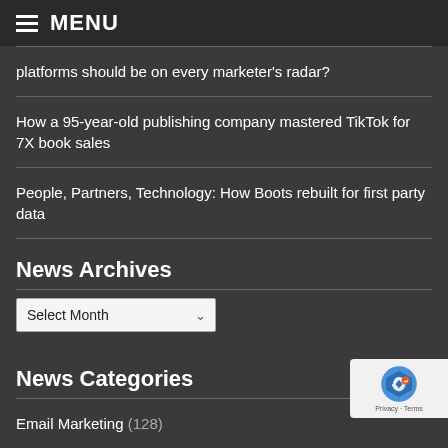MENU
platforms should be on every marketer's radar?
How a 95-year-old publishing company mastered TikTok for 7X book sales
People, Partners, Technology: How Boots rebuilt for first party data
News Archives
News Categories
Email Marketing (128)
Online Marketing News (686)